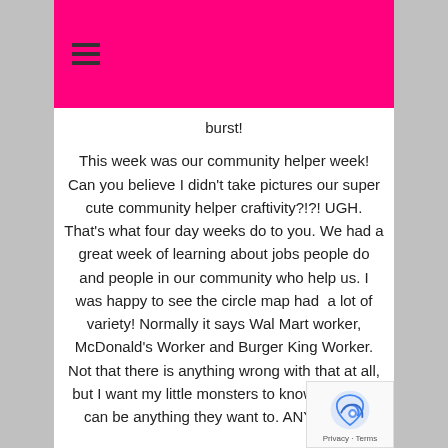☰ (navigation menu icon)
burst!

This week was our community helper week!  Can you believe I didn't take pictures our super cute community helper craftivity?!?!  UGH.  That's what four day weeks do to you.  We had a great week of learning about jobs people do and people in our community who help us.  I was happy to see the circle map had  a lot of variety!  Normally it says Wal Mart worker, McDonald's Worker and Burger King Worker.  Not that there is anything wrong with that at all, but I want my little monsters to know that they can be anything they want to.  ANYTHING!